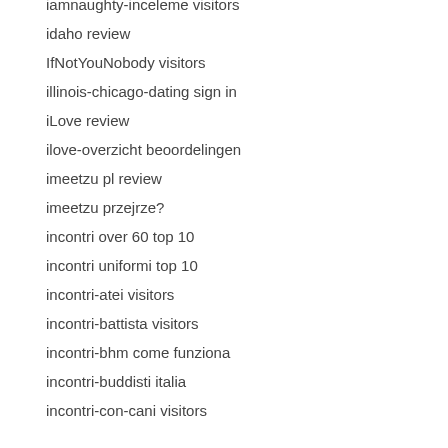iamnaughty-inceleme visitors
idaho review
IfNotYouNobody visitors
illinois-chicago-dating sign in
iLove review
ilove-overzicht beoordelingen
imeetzu pl review
imeetzu przejrze?
incontri over 60 top 10
incontri uniformi top 10
incontri-atei visitors
incontri-battista visitors
incontri-bhm come funziona
incontri-buddisti italia
incontri-con-cani visitors